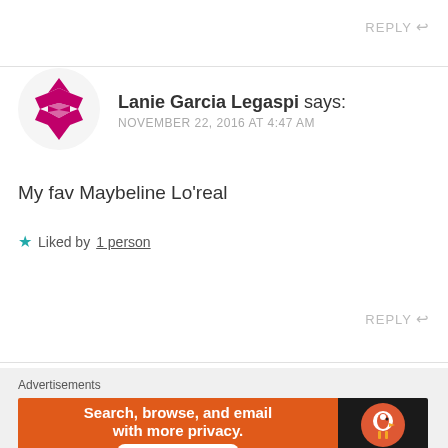REPLY ↩
[Figure (logo): Magenta geometric diamond/flower pattern avatar for Lanie Garcia Legaspi]
Lanie Garcia Legaspi says: NOVEMBER 22, 2016 AT 4:47 AM
My fav Maybeline Lo'real
★ Liked by 1 person
REPLY ↩
Advertisements
[Figure (screenshot): DuckDuckGo advertisement banner: 'Search, browse, and email with more privacy. All in One Free App' on orange background with DuckDuckGo logo on dark background]